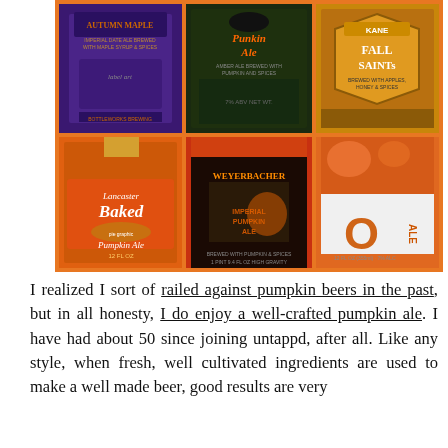[Figure (photo): A 3x2 grid of six pumpkin ale beer bottle/can labels on an orange background: Autumn Maple (purple label), Punkin Ale (dark label), Kane Fall Saints (gold label), Lancaster Baked Pumpkin Ale (orange label), Weyerbacher Imperial Pumpkin Ale (dark label), and O Pumpkin Ale (orange/white label).]
I realized I sort of railed against pumpkin beers in the past, but in all honesty, I do enjoy a well-crafted pumpkin ale. I have had about 50 since joining untappd, after all. Like any style, when fresh, well cultivated ingredients are used to make a well made beer, good results are very